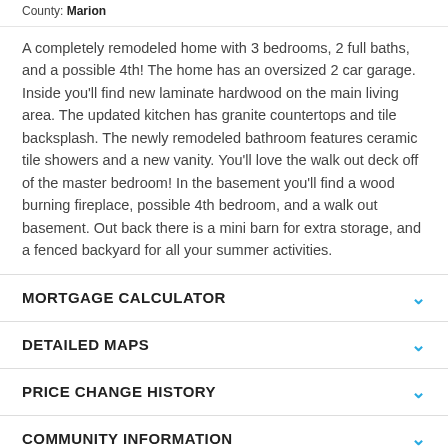County: Marion
A completely remodeled home with 3 bedrooms, 2 full baths, and a possible 4th! The home has an oversized 2 car garage. Inside you'll find new laminate hardwood on the main living area. The updated kitchen has granite countertops and tile backsplash. The newly remodeled bathroom features ceramic tile showers and a new vanity. You'll love the walk out deck off of the master bedroom! In the basement you'll find a wood burning fireplace, possible 4th bedroom, and a walk out basement. Out back there is a mini barn for extra storage, and a fenced backyard for all your summer activities.
MORTGAGE CALCULATOR
DETAILED MAPS
PRICE CHANGE HISTORY
COMMUNITY INFORMATION